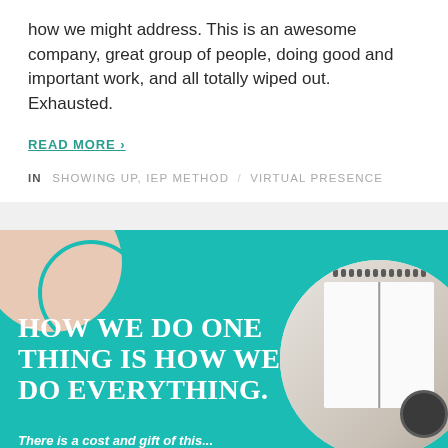how we might address. This is an awesome company, great group of people, doing good and important work, and all totally wiped out. Exhausted.
READ MORE ›
IN  SHOWING UP, IEP METHOD / VIRTUAL PRESENCE
[Figure (infographic): Teal/turquoise background infographic with bold white serif text reading 'HOW WE DO ONE THING IS HOW WE DO EVERYTHING.' and subtitle 'There is a cost and gift of this...' Decorative circles including a beige half-circle top-left and a white circle top-right containing a photo of a notebook and coffee cup on a desk.]